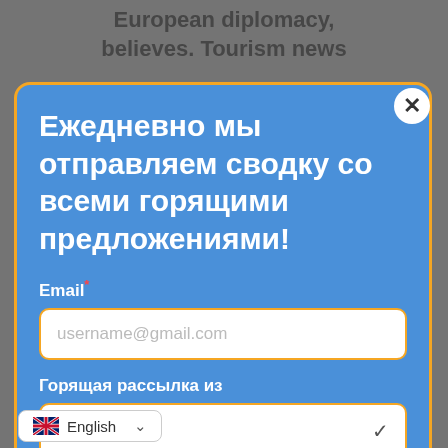European diplomacy, believes. Tourism news
Ежедневно мы отправляем сводку со всеми горящими предложениями!
Email*
username@gmail.com
Горящая рассылка из
Москвы
ПОДПИСАТЬСЯ
English